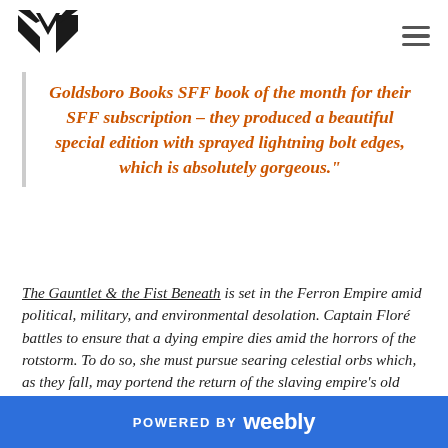[Figure (logo): Black stylized open book / letter M logo icon]
Goldsboro Books SFF book of the month for their SFF subscription – they produced a beautiful special edition with sprayed lightning bolt edges, which is absolutely gorgeous."
The Gauntlet & the Fist Beneath is set in the Ferron Empire amid political, military, and environmental desolation. Captain Floré battles to ensure that a dying empire dies amid the horrors of the rotstorm. To do so, she must pursue searing celestial orbs which, as they fall, may portend the return of the slaving empire's old strength. This is a rather grim and dire setting and I am curious to know whether you had a specific historical context in mind or if
POWERED BY weebly